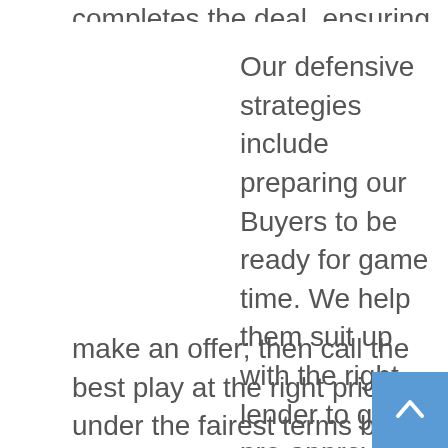completes the deal, ensuring a Win for their Sellers.
Our defensive strategies include preparing our Buyers to be ready for game time. We help them suit up with the right lender to get pre-approval; size up the competition to make sure we have a solid line up before we make an offer; then call the best play at the right price under the fairest terms before the buzzer sounds. Then we collect the victory keys and add a W to the books.